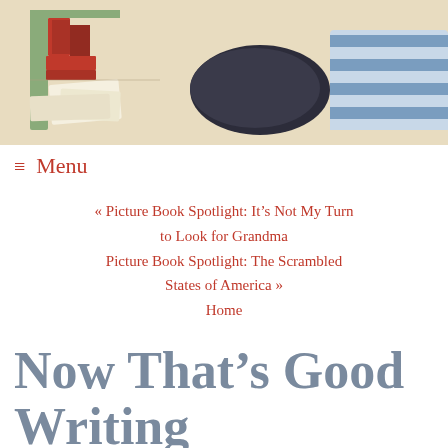[Figure (illustration): Banner illustration of a reading scene with books, papers, and a striped couch. Text overlay reads 'Here in the Bonny Glen' on a blue ribbon/banner.]
≡ Menu
« Picture Book Spotlight: It's Not My Turn to Look for Grandma
Picture Book Spotlight: The Scrambled States of America »
Home
Now That's Good Writing
February 24, 2005 @ 8:42 am | Filed under: Things that